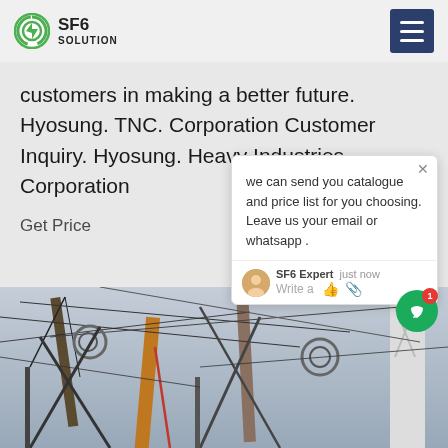SF6 SOLUTION
customers in making a better future. Hyosung. TNC. Corporation Customer Inquiry. Hyosung. Heavy Industries. Corporation
Get Price
we can send you catalogue and price list for you choosing.
Leave us your email or whatsapp .
SF6 Expert   just now
Write a
[Figure (photo): Electrical substation equipment with cranes, wires, and high-voltage infrastructure photographed from below against a cloudy sky]